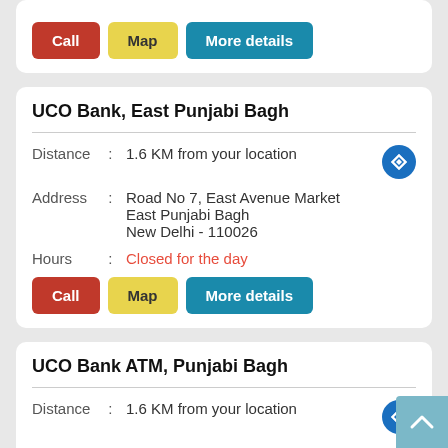[Figure (screenshot): Partial card with Call, Map, More details buttons at top of page]
UCO Bank, East Punjabi Bagh
Distance : 1.6 KM from your location
Address : Road No 7, East Avenue Market East Punjabi Bagh New Delhi - 110026
Hours : Closed for the day
[Figure (screenshot): Call, Map, More details buttons for UCO Bank East Punjabi Bagh]
UCO Bank ATM, Punjabi Bagh
Distance : 1.6 KM from your location